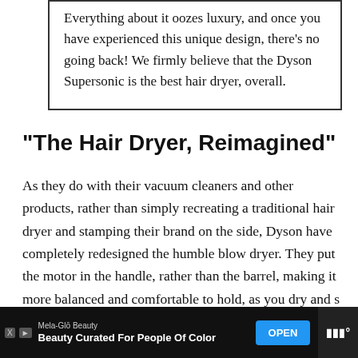Everything about it oozes luxury, and once you have experienced this unique design, there's no going back! We firmly believe that the Dyson Supersonic is the best hair dryer, overall.
“The Hair Dryer, Reimagined”
As they do with their vacuum cleaners and other products, rather than simply recreating a traditional hair dryer and stamping their brand on the side, Dyson have completely redesigned the humble blow dryer. They put the motor in the handle, rather than the barrel, making it more balanced and comfortable to hold, as you dry and s
[Figure (other): Advertisement banner at the bottom: Mela-Glō Beauty ad with 'Beauty Curated For People Of Color' tagline and OPEN button, displayed on dark background with logo icons]